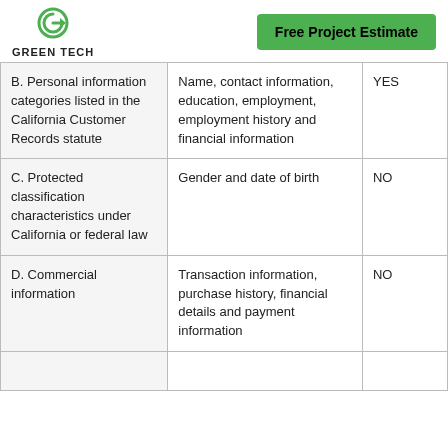GREEN TECH | Free Project Estimate
| Category | Examples | Collected |
| --- | --- | --- |
| B. Personal information categories listed in the California Customer Records statute | Name, contact information, education, employment, employment history and financial information | YES |
| C. Protected classification characteristics under California or federal law | Gender and date of birth | NO |
| D. Commercial information | Transaction information, purchase history, financial details and payment information | NO |